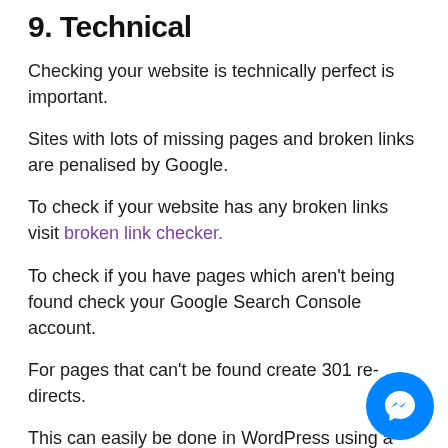9. Technical
Checking your website is technically perfect is important.
Sites with lots of missing pages and broken links are penalised by Google.
To check if your website has any broken links visit broken link checker.
To check if you have pages which aren't being found check your Google Search Console account.
For pages that can't be found create 301 re-directs.
This can easily be done in WordPress using a free plug-in.
Re-direct your missing page to the most relevant existing one on your site.